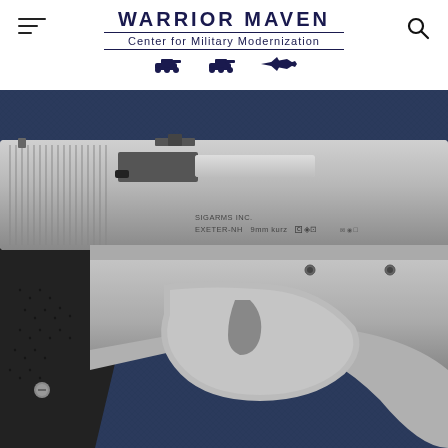WARRIOR MAVEN — Center for Military Modernization
[Figure (photo): Close-up photograph of a SIG Arms Inc. semi-automatic pistol chambered in 9mm kurz, made in Exeter NH, showing the slide, trigger guard, and black grip panel against a dark blue fabric background.]